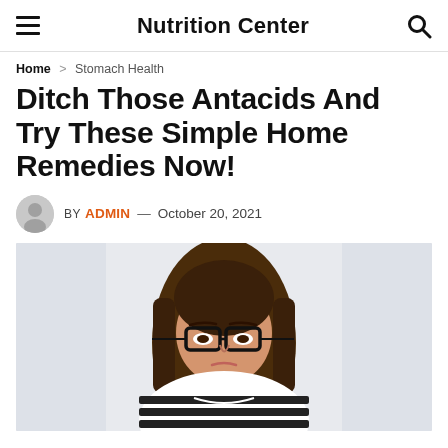Nutrition Center
Home > Stomach Health
Ditch Those Antacids And Try These Simple Home Remedies Now!
BY ADMIN — October 20, 2021
[Figure (photo): Woman with long brown hair wearing glasses and a black-and-white striped shirt, looking frustrated or unwell, posed against a light grey background.]